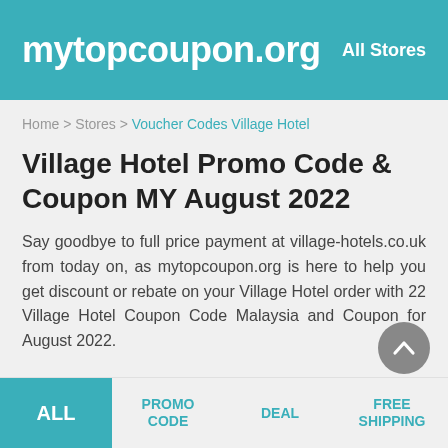mytopcoupon.org   All Stores
Home > Stores > Voucher Codes Village Hotel
Village Hotel Promo Code & Coupon MY August 2022
Say goodbye to full price payment at village-hotels.co.uk from today on, as mytopcoupon.org is here to help you get discount or rebate on your Village Hotel order with 22 Village Hotel Coupon Code Malaysia and Coupon for August 2022.
ALL   PROMO CODE   DEAL   FREE SHIPPING